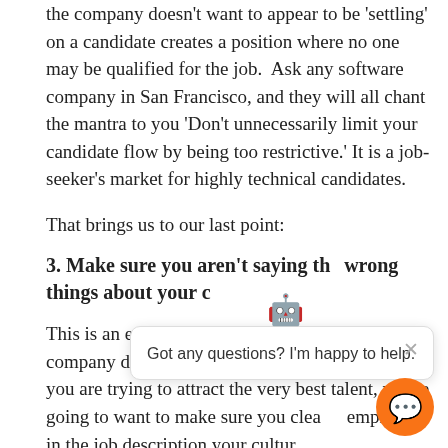the company doesn't want to appear to be 'settling' on a candidate creates a position where no one may be qualified for the job.  Ask any software company in San Francisco, and they will all chant the mantra to you 'Don't unnecessarily limit your candidate flow by being too restrictive.' It is a job-seeker's market for highly technical candidates.
That brings us to our last point:
3. Make sure you aren't saying the wrong things about your c...
This is an easy thing to... top job requirements... company doesn't promote work/life balance.  If you are trying to attract the very best talent, you're going to want to make sure you clearly emphasize in the job description your culture and...